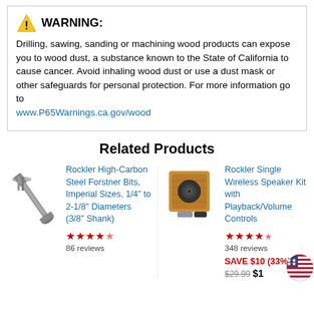WARNING: Drilling, sawing, sanding or machining wood products can expose you to wood dust, a substance known to the State of California to cause cancer. Avoid inhaling wood dust or use a dust mask or other safeguards for personal protection. For more information go to www.P65Warnings.ca.gov/wood
Related Products
[Figure (photo): Forstner drill bit image]
Rockler High-Carbon Steel Forstner Bits, Imperial Sizes, 1/4" to 2-1/8" Diameters (3/8" Shank)
★★★★½ 86 reviews
[Figure (photo): Rockler Single Wireless Speaker Kit product image]
Rockler Single Wireless Speaker Kit with Playback/Volume Controls
★★★★½ 348 reviews
SAVE $10 (33%) $29.99 $1...